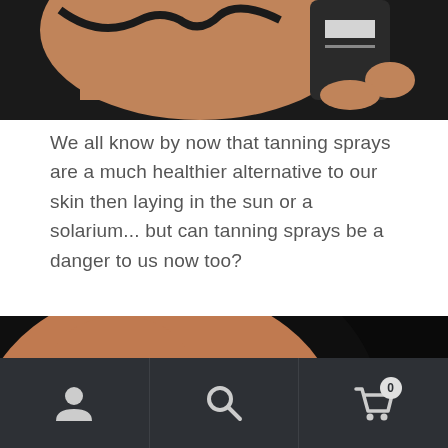[Figure (photo): Close-up photo of a tanned woman's torso in a black bikini holding what appears to be a spray tan bottle, cropped at the top of the page]
We all know by now that tanning sprays are a much healthier alternative to our skin then laying in the sun or a solarium... but can tanning sprays be a danger to us now too?
[Figure (photo): Photo of a person's bare shoulder/back being sprayed by a tanning spray gun device held by a hand, dark background]
User icon, Search icon, Shopping cart icon with badge showing 0